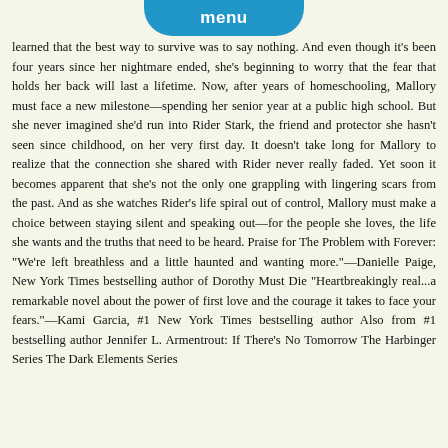menu
learned that the best way to survive was to say nothing. And even though it's been four years since her nightmare ended, she's beginning to worry that the fear that holds her back will last a lifetime. Now, after years of homeschooling, Mallory must face a new milestone—spending her senior year at a public high school. But she never imagined she'd run into Rider Stark, the friend and protector she hasn't seen since childhood, on her very first day. It doesn't take long for Mallory to realize that the connection she shared with Rider never really faded. Yet soon it becomes apparent that she's not the only one grappling with lingering scars from the past. And as she watches Rider's life spiral out of control, Mallory must make a choice between staying silent and speaking out—for the people she loves, the life she wants and the truths that need to be heard. Praise for The Problem with Forever: "We're left breathless and a little haunted and wanting more."—Danielle Paige, New York Times bestselling author of Dorothy Must Die "Heartbreakingly real...a remarkable novel about the power of first love and the courage it takes to face your fears."—Kami Garcia, #1 New York Times bestselling author Also from #1 bestselling author Jennifer L. Armentrout: If There's No Tomorrow The Harbinger Series The Dark Elements Series